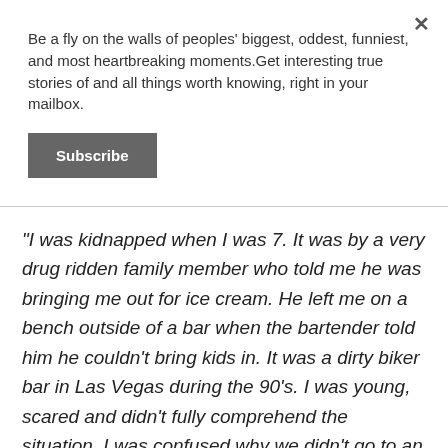Be a fly on the walls of peoples' biggest, oddest, funniest, and most heartbreaking moments.Get interesting true stories of and all things worth knowing, right in your mailbox.
Subscribe
"I was kidnapped when I was 7. It was by a very drug ridden family member who told me he was bringing me out for ice cream. He left me on a bench outside of a bar when the bartender told him he couldn't bring kids in. It was a dirty biker bar in Las Vegas during the 90's. I was young, scared and didn't fully comprehend the situation. I was confused why we didn't go to an ice cream shop."